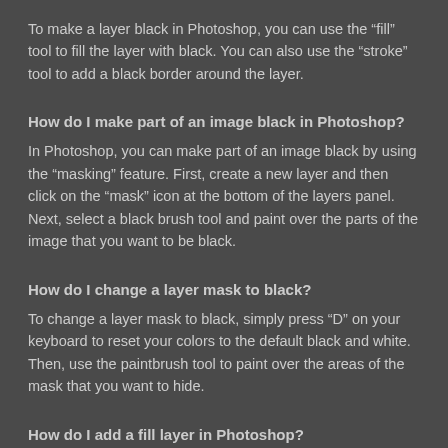To make a layer black in Photoshop, you can use the “fill” tool to fill the layer with black. You can also use the “stroke” tool to add a black border around the layer.
How do I make part of an image black in Photoshop?
In Photoshop, you can make part of an image black by using the “masking” feature. First, create a new layer and then click on the “mask” icon at the bottom of the layers panel. Next, select a black brush tool and paint over the parts of the image that you want to be black.
How do I change a layer mask to black?
To change a layer mask to black, simply press “D” on your keyboard to reset your colors to the default black and white. Then, use the paintbrush tool to paint over the areas of the mask that you want to hide.
How do I add a fill layer in Photoshop?